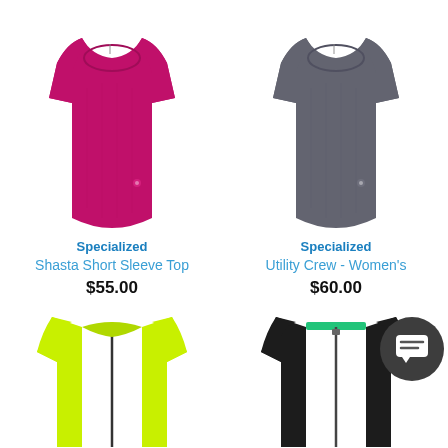[Figure (photo): Magenta/pink women's short sleeve crew neck t-shirt (Specialized Shasta Short Sleeve Top)]
Specialized
Shasta Short Sleeve Top
$55.00
[Figure (photo): Dark grey women's short sleeve crew neck t-shirt (Specialized Utility Crew - Women's)]
Specialized
Utility Crew - Women's
$60.00
[Figure (photo): Bright yellow/lime green women's cycling jersey with half zip (partially visible, bottom of page)]
[Figure (photo): Black women's cycling jersey with half zip and green accent (partially visible, bottom of page), with dark chat bubble icon overlay]